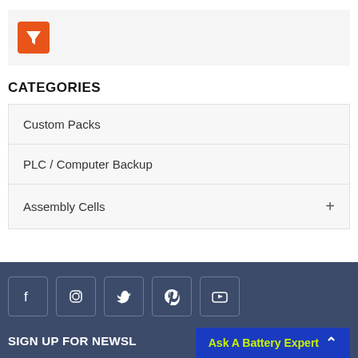[Figure (other): Orange filter/funnel icon button in a light grey bar]
CATEGORIES
Custom Packs
PLC / Computer Backup
Assembly Cells
[Figure (other): Social media icons row: Facebook, Instagram, Twitter, Pinterest, YouTube — white outlined boxes on dark blue background]
SIGN UP FOR NEWSL... Ask A Battery Expert